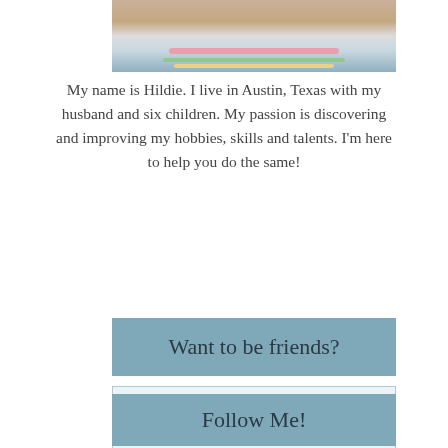[Figure (photo): Top portion of a photo of Hildie, showing her face/head and colorful striped collar/scarf, cropped at the top of the page]
My name is Hildie. I live in Austin, Texas with my husband and six children. My passion is discovering and improving my hobbies, skills and talents. I'm here to help you do the same!
Want to be friends?
First Name:
Email address:
Follow Me!